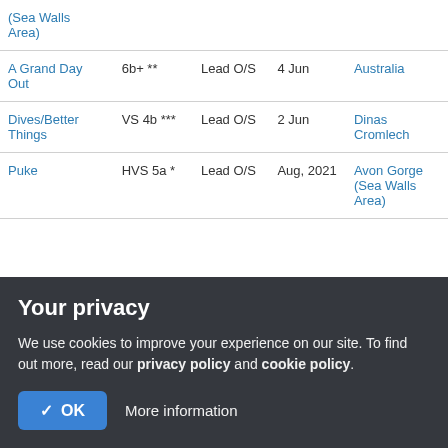| Route | Grade | Style | Date | Crag |
| --- | --- | --- | --- | --- |
| (Sea Walls Area) |  |  |  |  |
| A Grand Day Out | 6b+ ** | Lead O/S | 4 Jun | Australia |
| Dives/Better Things | VS 4b *** | Lead O/S | 2 Jun | Dinas Cromlech |
| Puke | HVS 5a * | Lead O/S | Aug, 2021 | Avon Gorge (Sea Walls Area) |
Page 1
>
Your privacy
We use cookies to improve your experience on our site. To find out more, read our privacy policy and cookie policy.
✓ OK   More information